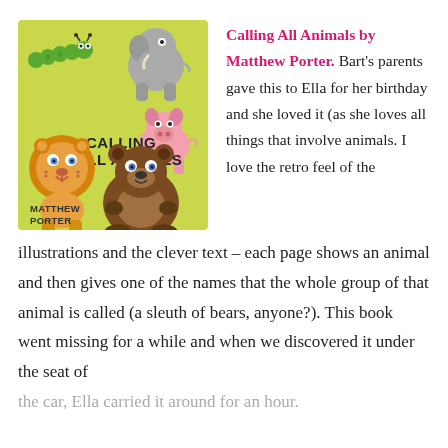[Figure (illustration): Book cover of 'Calling All Animals' by Matthew Porter. Yellow-green background with cartoon illustrations of animals including a caterpillar, elephant, pig, lion, and bear. Title text reads 'CALLING ALL ANIMALS' and author name 'MATTHEW PORTER' at the bottom left.]
Calling All Animals by Matthew Porter. Bart's parents gave this to Ella for her birthday and she loved it (as she loves all things that involve animals. I love the retro feel of the illustrations and the clever text – each page shows an animal and then gives one of the names that the whole group of that animal is called (a sleuth of bears, anyone?). This book went missing for a while and when we discovered it under the seat of the car, Ella carried it around for an hour.